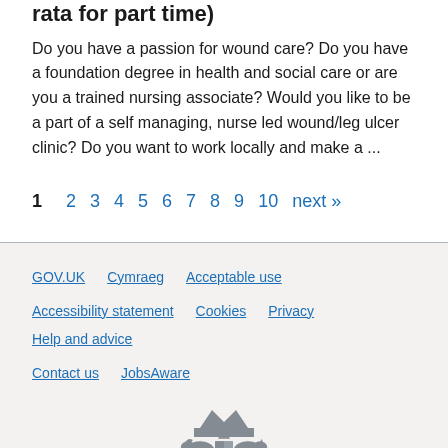rata for part time)
Do you have a passion for wound care? Do you have a foundation degree in health and social care or are you a trained nursing associate? Would you like to be a part of a self managing, nurse led wound/leg ulcer clinic? Do you want to work locally and make a ...
1  2  3  4  5  6  7  8  9  10  next »
GOV.UK  Cymraeg  Acceptable use  Accessibility statement  Cookies  Privacy  Help and advice  Contact us  JobsAware